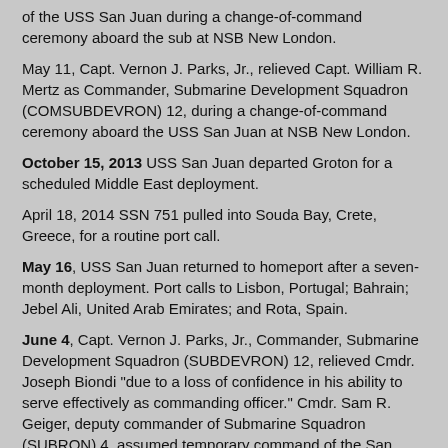of the USS San Juan during a change-of-command ceremony aboard the sub at NSB New London.
May 11, Capt. Vernon J. Parks, Jr., relieved Capt. William R. Mertz as Commander, Submarine Development Squadron (COMSUBDEVRON) 12, during a change-of-command ceremony aboard the USS San Juan at NSB New London.
October 15, 2013 USS San Juan departed Groton for a scheduled Middle East deployment.
April 18, 2014 SSN 751 pulled into Souda Bay, Crete, Greece, for a routine port call.
May 16, USS San Juan returned to homeport after a seven-month deployment. Port calls to Lisbon, Portugal; Bahrain; Jebel Ali, United Arab Emirates; and Rota, Spain.
June 4, Capt. Vernon J. Parks, Jr., Commander, Submarine Development Squadron (SUBDEVRON) 12, relieved Cmdr. Joseph Biondi "due to a loss of confidence in his ability to serve effectively as commanding officer." Cmdr. Sam R. Geiger, deputy commander of Submarine Squadron (SUBRON) 4, assumed temporary command of the San Juan.
December 2, Cmdr. John D. Craddock relieved Cmdr. Sam R. Geiger as CO of the San Juan during a change-of-command ceremony at Dealey Center on Naval Submarine Base New London.
December 23, 2015 USS San Juan moored at Pier 2 on Naval Submarine Base New London after underway for routine training;